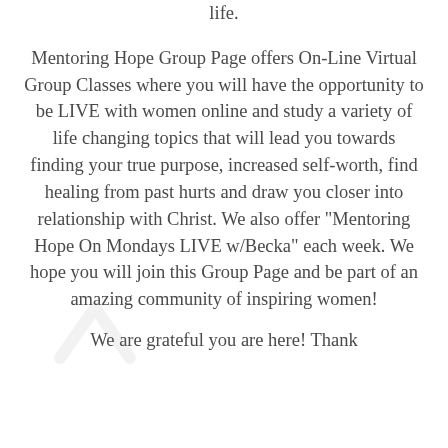life.

Mentoring Hope Group Page offers On-Line Virtual Group Classes where you will have the opportunity to be LIVE with women online and study a variety of life changing topics that will lead you towards finding your true purpose, increased self-worth, find healing from past hurts and draw you closer into relationship with Christ. We also offer "Mentoring Hope On Mondays LIVE w/Becka" each week. We hope you will join this Group Page and be part of an amazing community of inspiring women!

We are grateful you are here! Thank